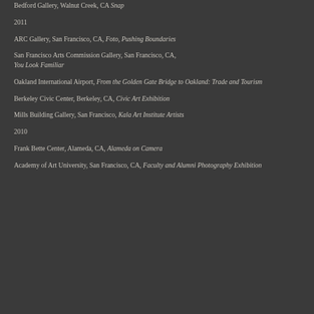Bedford Gallery, Walnut Creek, CA Snap
2011
ARC Gallery, San Francisco, CA, Foto, Pushing Boundaries
San Francisco Arts Commission Gallery, San Francisco, CA, You Look Familiar
Oakland International Airport, From the Golden Gate Bridge to Oakland: Trade and Tourism
Berkeley Civic Center, Berkeley, CA, Civic Art Exhibition
Mills Building Gallery, San Francisco, Kala Art Institute Artists
2010
Frank Bette Center, Alameda, CA, Alameda on Camera
Academy of Art University, San Francisco, CA, Faculty and Alumni Photography Exhibition